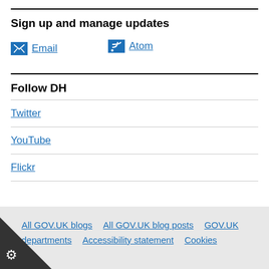Sign up and manage updates
Email
Atom
Follow DH
Twitter
YouTube
Flickr
All GOV.UK blogs   All GOV.UK blog posts   GOV.UK   departments   Accessibility statement   Cookies